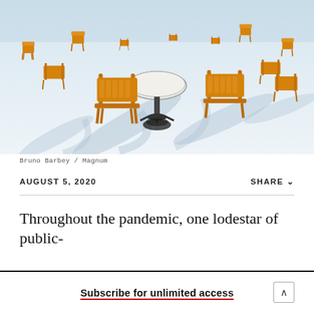[Figure (photo): Outdoor cafe chairs and tables in snow, with orange/yellow metal chairs casting long shadows on white snowy ground. Aerial/elevated view.]
Bruno Barbey / Magnum
AUGUST 5, 2020
SHARE
Throughout the pandemic, one lodestar of public-
Subscribe for unlimited access